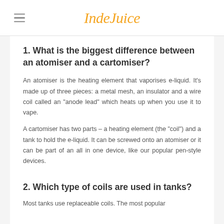IndeJuice
1. What is the biggest difference between an atomiser and a cartomiser?
An atomiser is the heating element that vaporises e-liquid. It’s made up of three pieces: a metal mesh, an insulator and a wire coil called an “anode lead” which heats up when you use it to vape.
A cartomiser has two parts – a heating element (the “coil”) and a tank to hold the e-liquid. It can be screwed onto an atomiser or it can be part of an all in one device, like our popular pen-style devices.
2. Which type of coils are used in tanks?
Most tanks use replaceable coils. The most popular